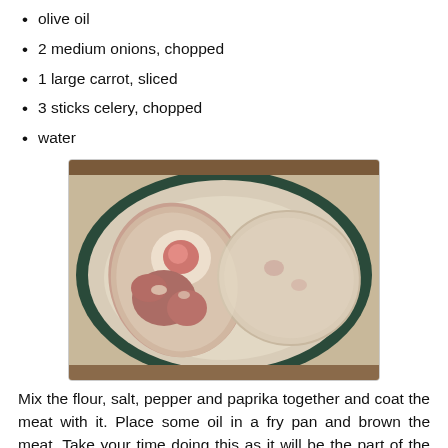olive oil
2 medium onions, chopped
1 large carrot, sliced
3 sticks celery, chopped
water
[Figure (photo): Two pieces of raw meat coated in flour mixture on a dark-rimmed plate. The left piece shows bone and red meat cross-section, the right piece is fully coated.]
Mix the flour, salt, pepper and paprika together and coat the meat with it. Place some oil in a fry pan and brown the meat. Take your time doing this as it will be the part of the cooking that makes the most difference to the final meal. Slowly